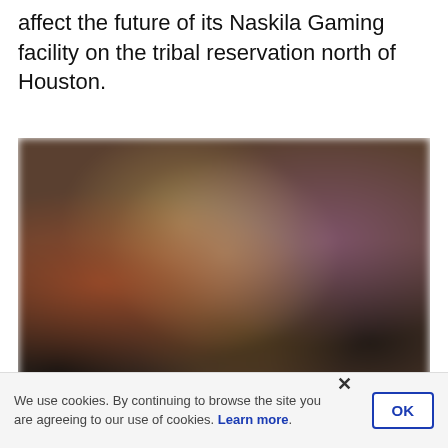affect the future of its Naskila Gaming facility on the tribal reservation north of Houston.
[Figure (photo): Blurred photo of people at what appears to be a gaming facility, figures visible but indistinct due to motion blur.]
When is a slot machine not really a slot machine? A judge will get the
We use cookies. By continuing to browse the site you are agreeing to our use of cookies. Learn more.